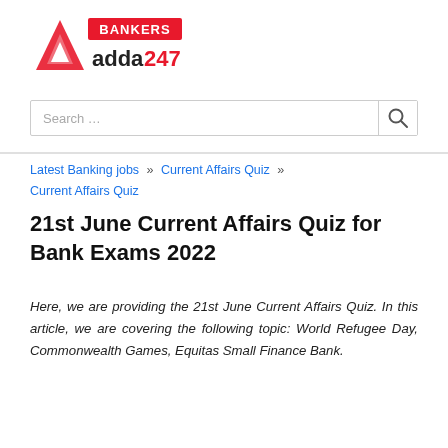[Figure (logo): Bankers Adda247 logo with red triangle/A icon and 'BANKERS adda247' text in red and black]
Search …
Latest Banking jobs » Current Affairs Quiz » Current Affairs Quiz
21st June Current Affairs Quiz for Bank Exams 2022
Here, we are providing the 21st June Current Affairs Quiz. In this article, we are covering the following topic: World Refugee Day, Commonwealth Games, Equitas Small Finance Bank.